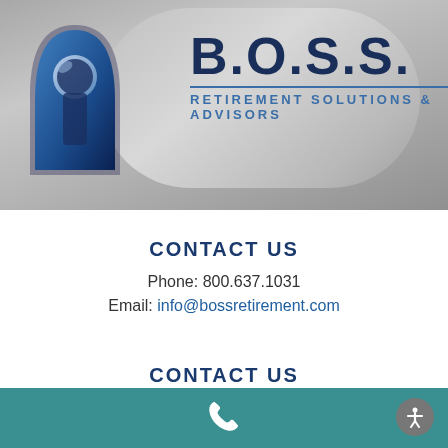[Figure (logo): B.O.S.S. Retirement Solutions & Advisors logo with keyhole icon on silver gradient banner background]
CONTACT US
Phone: 800.637.1031
Email: info@bossretirement.com
CONTACT US
Phone: 208.768.9500
Phone icon and accessibility icon